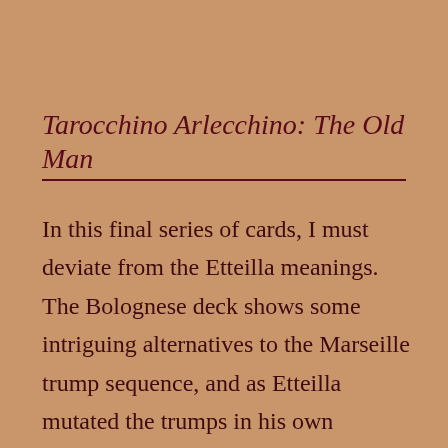Tarocchino Arlecchino: The Old Man
In this final series of cards, I must deviate from the Etteilla meanings. The Bolognese deck shows some intriguing alternatives to the Marseille trump sequence, and as Etteilla mutated the trumps in his own direction,1 the two are almost incompatible. Ah, the fun of starting a deck with minimal planning… So